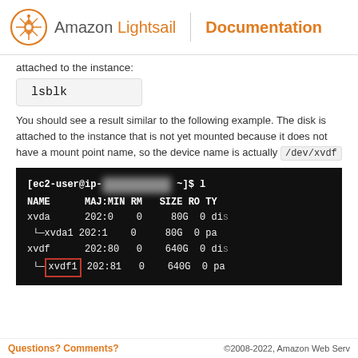Amazon Lightsail | Documentation
attached to the instance:
lsblk
You should see a result similar to the following example. The disk is attached to the instance that is not yet mounted because it does not have a mount point name, so the device name is actually /dev/xvdf
[Figure (screenshot): Terminal output showing lsblk command result with devices xvda (202:0, 80G disk), xvda1 (202:1, 80G part), xvdf (202:80, 640G disk), xvdf1 (202:81, 640G part) with xvdf1 highlighted in a red rectangle]
Questions? Comments?    ©2008-2022, Amazon Web Services